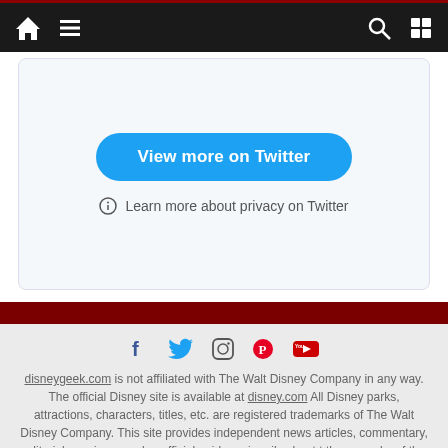Navigation bar with home, menu, search, and shuffle icons
[Figure (screenshot): Twitter embed card with 'View more on Twitter' blue button and 'Learn more about privacy on Twitter' link]
View more on Twitter
Learn more about privacy on Twitter
[Figure (infographic): Social media icons: Facebook, Twitter, Instagram, Pinterest, YouTube]
disneygeek.com is not affiliated with The Walt Disney Company in any way. The official Disney site is available at disney.com All Disney parks, attractions, characters, titles, etc. are registered trademarks of The Walt Disney Company. This site provides independent news articles, commentary, editorials, reviews, and unofficial guides primarily about the theme parks of the Walt Disney Company. Disneygeek.com